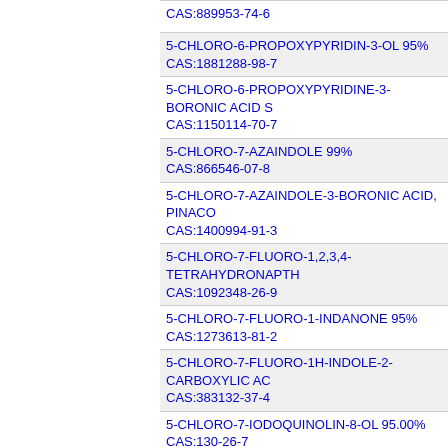|  | CAS:889953-74-6 |
|  | 5-CHLORO-6-PROPOXYPYRIDIN-3-OL 95%
CAS:1881288-98-7 |
|  | 5-CHLORO-6-PROPOXYPYRIDINE-3-BORONIC ACID
CAS:1150114-70-7 |
|  | 5-CHLORO-7-AZAINDOLE 99%
CAS:866546-07-8 |
|  | 5-CHLORO-7-AZAINDOLE-3-BORONIC ACID, PINACO
CAS:1400994-91-3 |
|  | 5-CHLORO-7-FLUORO-1,2,3,4-TETRAHYDRONAPTH
CAS:1092348-26-9 |
|  | 5-CHLORO-7-FLUORO-1-INDANONE 95%
CAS:1273613-81-2 |
|  | 5-CHLORO-7-FLUORO-1H-INDOLE-2-CARBOXYLIC AC
CAS:383132-37-4 |
|  | 5-CHLORO-7-IODOQUINOLIN-8-OL 95.00%
CAS:130-26-7 |
|  | 5-CHLORO-7-METHOXYTHIENO[3,2-B]PYRIDINE 95%
CAS:90690-91-8 |
|  | 5-CHLORO-7-METHYL-1H-INDOLE-2-CARBOXYLIC AC
CAS:15936-74-0 |
|  | 5-CHLORO-7-METHYL-1H-INDOLE-3-CARBALDEHYDE
CAS:15936-83-1 |
|  | 5-CHLORO-7-METHYL-1H-PYRROLO[3,2-B]PYRIDINE
CAS:357263-43-5 |
|  | 5-CHLORO-7-METHYL-3H-IMIDAZO[4,5-B]PYRIDINE 9
CAS:1234615-90-7 |